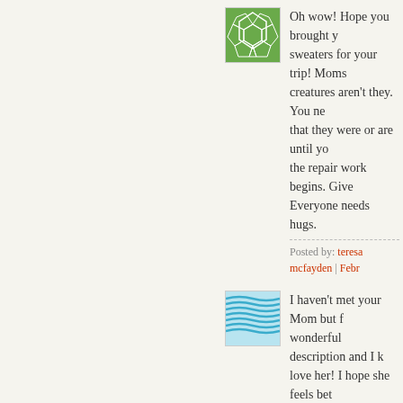[Figure (illustration): Green geometric pattern avatar with polygon/soccer-ball like shapes on green background]
Oh wow! Hope you brought y... sweaters for your trip! Moms... creatures aren't they. You ne... that they were or are until yo... the repair work begins. Give ... Everyone needs hugs.
Posted by: teresa mcfayden | Febr...
[Figure (illustration): Blue wavy stripes pattern avatar on light blue background]
I haven't met your Mom but f... wonderful description and I k... love her! I hope she feels bet... time with her Charlotte.
xo,
Kim
P.S. Love the picture!
Posted by: Daisy Cottage | Februa...
[Figure (illustration): Teal/grey abstract line drawing avatar with curved lines on light background]
Your mom sounds divine! I ho... soon.
Posted by: ...